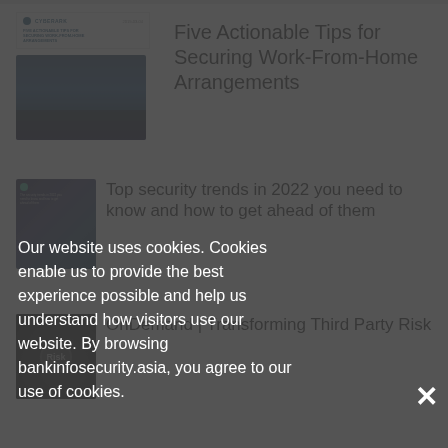[Figure (screenshot): Document thumbnail showing Cyberark logo and title 'Five Actionable Tips for Securing Work-From-Home Arrangements' in small blue uppercase text with a blue gradient cover image below]
Five Actionable Tips for Securing Work-From-Home Arrangements
[Figure (screenshot): Dark blue document thumbnail with small logo and text]
Top security trends in 2022 you need to know and how to get ahead of them
[Figure (photo): Dark photo of a lock or security key on dark background]
OnDemand | Transforming Third Party Risk
Our website uses cookies. Cookies enable us to provide the best experience possible and help us understand how visitors use our website. By browsing bankinfosecurity.asia, you agree to our use of cookies.